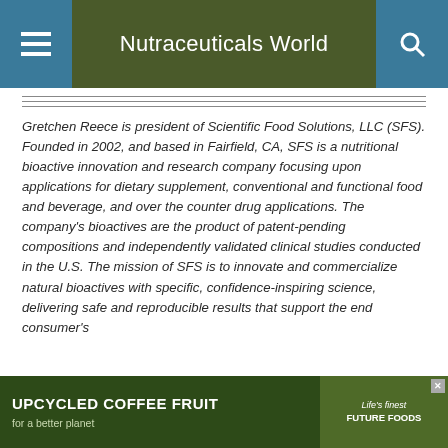Nutraceuticals World
Gretchen Reece is president of Scientific Food Solutions, LLC (SFS). Founded in 2002, and based in Fairfield, CA, SFS is a nutritional bioactive innovation and research company focusing upon applications for dietary supplement, conventional and functional food and beverage, and over the counter drug applications. The company's bioactives are the product of patent-pending compositions and independently validated clinical studies conducted in the U.S. The mission of SFS is to innovate and commercialize natural bioactives with specific, confidence-inspiring science, delivering safe and reproducible results that support the end consumer's
[Figure (advertisement): Advertisement banner: UPCYCLED COFFEE FRUIT for a better planet with a brand logo on the right side]